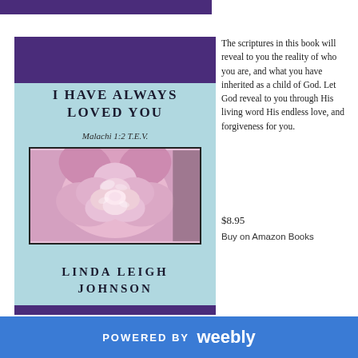[Figure (illustration): Book cover for 'I Have Always Loved You' by Linda Leigh Johnson. Features a purple top band, light blue background, pink peony flower photo in center, and bold spaced serif title and author name. Subtitle reads 'Malachi 1:2 T.E.V.']
The scriptures in this book will reveal to you the reality of who you are, and what you have inherited as a child of God. Let God reveal to you through His living word His endless love, and forgiveness for you.
$8.95
Buy on Amazon Books
POWERED BY weebly